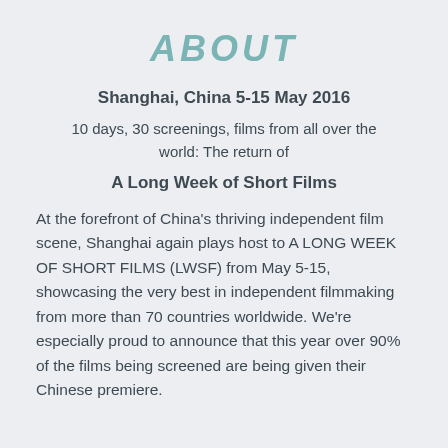ABOUT
Shanghai, China 5-15 May 2016
10 days, 30 screenings, films from all over the world: The return of
A Long Week of Short Films
At the forefront of China's thriving independent film scene, Shanghai again plays host to A LONG WEEK OF SHORT FILMS (LWSF) from May 5-15, showcasing the very best in independent filmmaking from more than 70 countries worldwide. We're especially proud to announce that this year over 90% of the films being screened are being given their Chinese premiere.